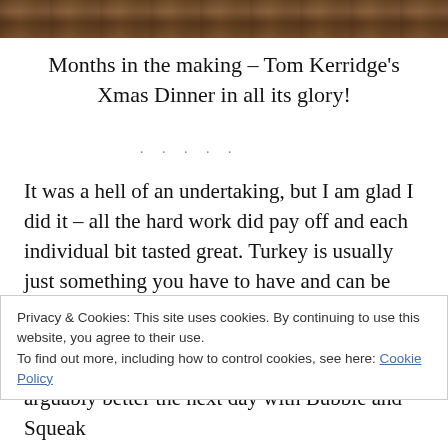[Figure (photo): Partial photo strip at top of page showing a wooden surface or food, cropped to a thin horizontal band.]
Months in the making – Tom Kerridge's Xmas Dinner in all its glory!
. . . .
It was a hell of an undertaking, but I am glad I did it – all the hard work did pay off and each individual bit tasted great. Turkey is usually just something you have to have and can be bland and dry, but this one
Privacy & Cookies: This site uses cookies. By continuing to use this website, you agree to their use.
To find out more, including how to control cookies, see here: Cookie Policy
arguably better the next day with Bubble and Squeak